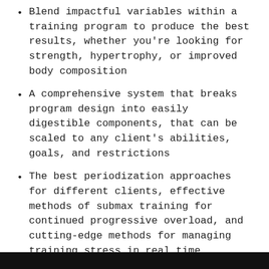Blend impactful variables within a training program to produce the best results, whether you're looking for strength, hypertrophy, or improved body composition
A comprehensive system that breaks program design into easily digestible components, that can be scaled to any client's abilities, goals, and restrictions
The best periodization approaches for different clients, effective methods of submax training for continued progressive overload, and cutting-edge methods for managing training stress in real time
Know how to measure the training variables that matter